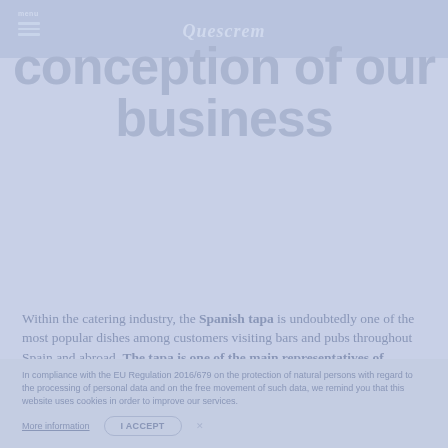menu | Quescrem
...conception of our business
Within the catering industry, the Spanish tapa is undoubtedly one of the most popular dishes among customers visiting bars and pubs throughout Spain and abroad. The tapa is one of the main representatives of Spanish cuisine, a small mouthful
In compliance with the EU Regulation 2016/679 on the protection of natural persons with regard to the processing of personal data and on the free movement of such data, we remind you that this website uses cookies in order to improve our services. More information | I ACCEPT